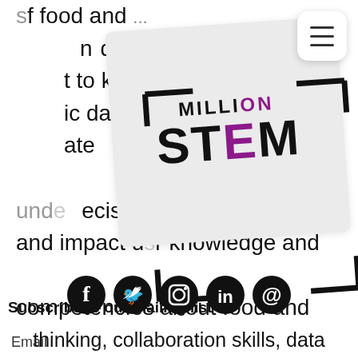[Figure (logo): MillionSTEM logo card overlay with bracket decorations. Text reads MILLION STEM with ON and E in purple/magenta.]
[Figure (other): Hamburger menu button (three horizontal lines) in top right corner]
f food and ... data ... t to know to ... ic data and ... ate ... decision making, and impact user knowledge and competencies about food and water sustainability. Our study
Subscribe to our mailing list
Email
Submit
knowledge, systems thinking, strategic thinking, futures thinking, collaboration skills, data
[Figure (other): Social media icons row: Facebook, Twitter, Instagram, LinkedIn, email/at symbol]
thinking, collaboration skills, data